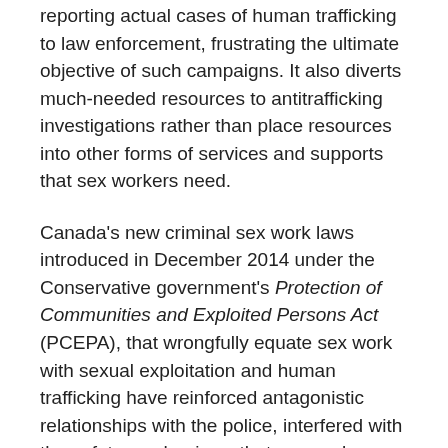reporting actual cases of human trafficking to law enforcement, frustrating the ultimate objective of such campaigns. It also diverts much-needed resources to antitrafficking investigations rather than place resources into other forms of services and supports that sex workers need.
Canada's new criminal sex work laws introduced in December 2014 under the Conservative government's Protection of Communities and Exploited Persons Act (PCEPA), that wrongfully equate sex work with sexual exploitation and human trafficking have reinforced antagonistic relationships with the police, interfered with the safety mechanisms that sex workers use to stay safe on the job, and increased stigma and discrimination against sex workers. Operation Northern Spotlight perpetuates the faulty logic of PCEPA and continues to